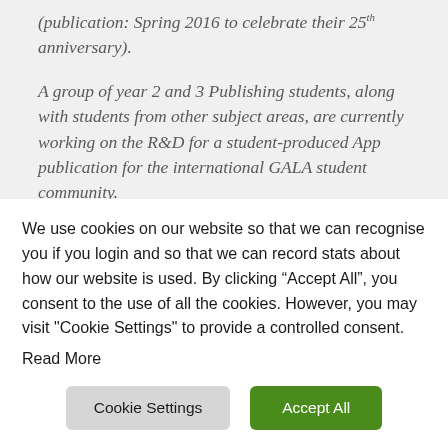(publication: Spring 2016 to celebrate their 25th anniversary).
A group of year 2 and 3 Publishing students, along with students from other subject areas, are currently working on the R&D for a student-produced App publication for the international GALA student community.
We use cookies on our website so that we can recognise you if you login and so that we can record stats about how our website is used. By clicking “Accept All”, you consent to the use of all the cookies. However, you may visit "Cookie Settings" to provide a controlled consent.
Read More